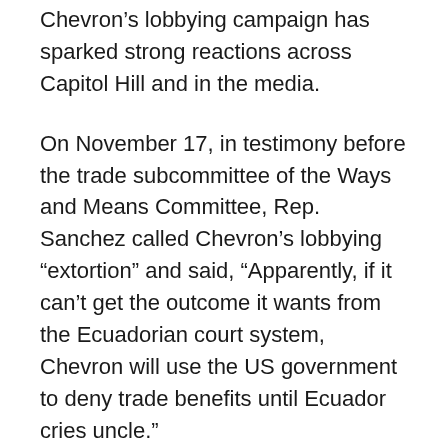Chevron's lobbying campaign has sparked strong reactions across Capitol Hill and in the media.
On November 17, in testimony before the trade subcommittee of the Ways and Means Committee, Rep. Sanchez called Chevron’s lobbying “extortion” and said, “Apparently, if it can’t get the outcome it wants from the Ecuadorian court system, Chevron will use the US government to deny trade benefits until Ecuador cries uncle.”
A recent editorial in the Los Angeles Times editorial blasted Chevron, noting that “If … Chevron has its way, Congress will instead punish Ecuador because its government refuses to halt a